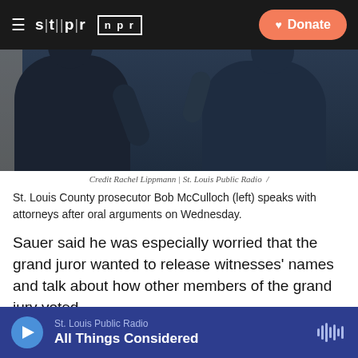stlpr | npr — Donate
[Figure (photo): Two people in dark suits viewed from behind, appearing to talk, with a light-colored wall at left edge]
Credit Rachel Lippmann | St. Louis Public Radio /
St. Louis County prosecutor Bob McCulloch (left) speaks with attorneys after oral arguments on Wednesday.
Sauer said he was especially worried that the grand juror wanted to release witnesses' names and talk about how other members of the grand jury voted.
McCulloch was in the courtroom Wednesday, but did not make any comment afterward and declined a later
St. Louis Public Radio — All Things Considered